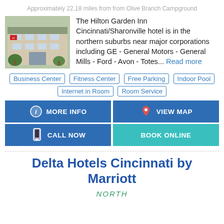Approximately 22.18 miles from from Olive Branch Campground
[Figure (photo): Exterior photo of Hilton Garden Inn Cincinnati/Sharonville hotel building]
The Hilton Garden Inn Cincinnati/Sharonville hotel is in the northern suburbs near major corporations including GE - General Motors - General Mills - Ford - Avon - Totes... Read more
Business Center
Fitness Center
Free Parking
Indoor Pool
Internet in Room
Room Service
MORE INFO
VIEW MAP
CALL NOW
BOOK ONLINE
Delta Hotels Cincinnati by Marriott
NORTH